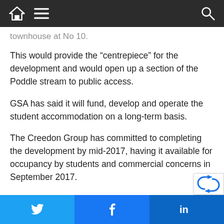[Navigation bar with home, menu, and search icons]
townhouse at No 10.
This would provide the “centrepiece” for the development and would open up a section of the Poddle stream to public access.
GSA has said it will fund, develop and operate the student accommodation on a long-term basis.
The Creedon Group has committed to completing the development by mid-2017, having it available for occupancy by students and commercial concerns in September 2017.
Hundreds of jobs will be created during the construction and refurbishment phase as well